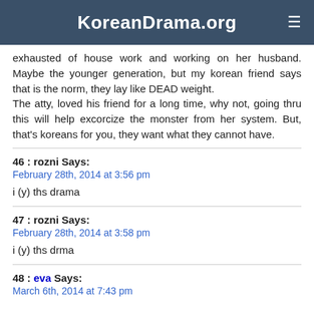KoreanDrama.org
exhausted of house work and working on her husband. Maybe the younger generation, but my korean friend says that is the norm, they lay like DEAD weight.
The atty, loved his friend for a long time, why not, going thru this will help excorcize the monster from her system. But, that's koreans for you, they want what they cannot have.
46 : rozni Says:
February 28th, 2014 at 3:56 pm
i (y) ths drama
47 : rozni Says:
February 28th, 2014 at 3:58 pm
i (y) ths drma
48 : eva Says:
March 6th, 2014 at 7:43 pm